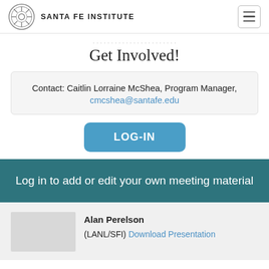SANTA FE INSTITUTE
Get Involved!
Contact: Caitlin Lorraine McShea, Program Manager, cmcshea@santafe.edu
LOG-IN
Log in to add or edit your own meeting material
Alan Perelson (LANL/SFI) Download Presentation